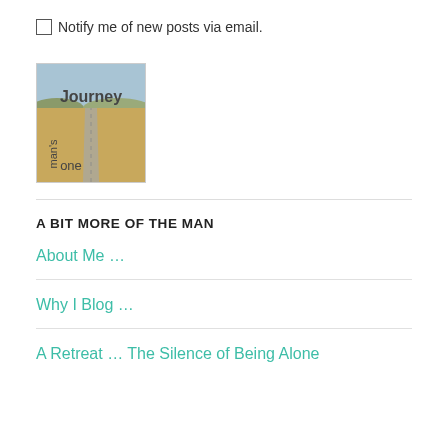Notify me of new posts via email.
[Figure (illustration): Blog logo image showing a long straight road/path through a brown field with text 'Journey one man's' overlaid]
A BIT MORE OF THE MAN
About Me ...
Why I Blog ...
A Retreat ... The Silence of Being Alone